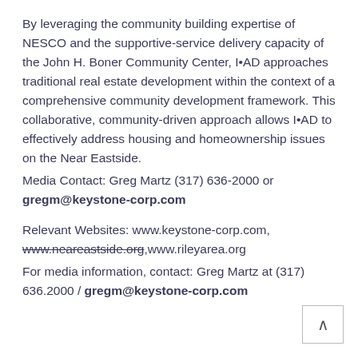By leveraging the community building expertise of NESCO and the supportive-service delivery capacity of the John H. Boner Community Center, I•AD approaches traditional real estate development within the context of a comprehensive community development framework. This collaborative, community-driven approach allows I•AD to effectively address housing and homeownership issues on the Near Eastside.
Media Contact: Greg Martz (317) 636-2000 or gregm@keystone-corp.com
Relevant Websites: www.keystone-corp.com, www.neareastside.org,www.rileyarea.org
For media information, contact: Greg Martz at (317) 636.2000 / gregm@keystone-corp.com